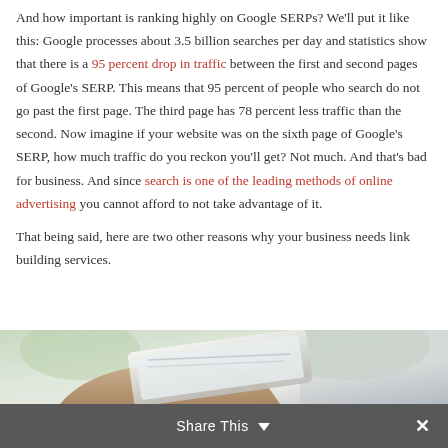And how important is ranking highly on Google SERPs? We'll put it like this: Google processes about 3.5 billion searches per day and statistics show that there is a 95 percent drop in traffic between the first and second pages of Google's SERP. This means that 95 percent of people who search do not go past the first page. The third page has 78 percent less traffic than the second. Now imagine if your website was on the sixth page of Google's SERP, how much traffic do you reckon you'll get? Not much. And that's bad for business. And since search is one of the leading methods of online advertising you cannot afford to not take advantage of it.
That being said, here are two other reasons why your business needs link building services.
[Figure (photo): A hand holding a smartphone or tablet, partially visible at the bottom of the page. Background is blurred green/light tones suggesting an outdoor or office setting.]
Share This ∨  ✕